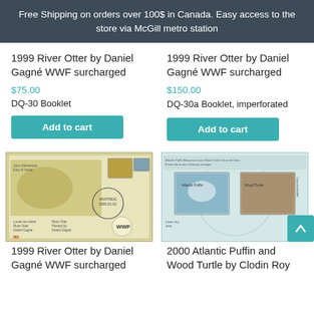Free Shipping on orders over 100$ in Canada. Easy access to the store via McGill metro station
1999 River Otter by Daniel Gagné WWF surcharged
$75.00
DQ-30 Booklet
Add to cart
1999 River Otter by Daniel Gagné WWF surcharged
$150.00
DQ-30a Booklet, imperforated
Add to cart
[Figure (photo): First day cover envelope with river otter stamps and WWF logo, numbered 001]
[Figure (photo): Stamp booklet showing Atlantic Puffin and Wood Turtle stamps by Clodin Roy]
1999 River Otter by Daniel Gagné WWF surcharged
2000 Atlantic Puffin and Wood Turtle by Clodin Roy